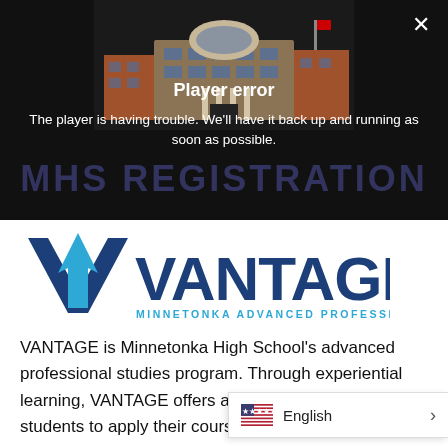[Figure (screenshot): Video player error screen with dark background, building image, 'Player error' title, error message text, and 'MHS REGISTRATION' watermark text overlaid. An X close button is in the top right.]
[Figure (logo): VANTAGE - Minnetonka Advanced Professional Studies logo in blue with upward arrow accent]
VANTAGE is Minnetonka High School's advanced professional studies program. Through experiential learning, VANTAGE offers a unique opportunity for students to apply their coursework in rea…
English